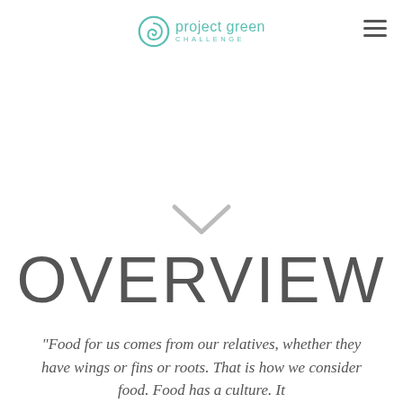project green CHALLENGE
[Figure (other): Downward chevron/arrow icon in light gray]
OVERVIEW
"Food for us comes from our relatives, whether they have wings or fins or roots. That is how we consider food. Food has a culture. It